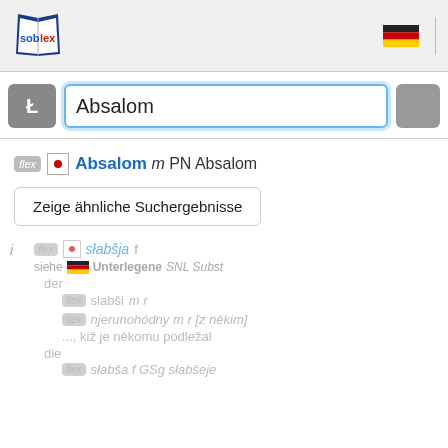[Figure (logo): Soblex dictionary logo with book icon and 'sob' in blue, 'lex' in red text, with German flag icon in header]
Absalom
• Absalom m PN Absalom
Zeige ähnliche Suchergebnisse
i  flex • słabšja f  siehe Unterlegene SNL Subst  der  flex slabši m r  flex njerunohódny m r [z někim]  ..., kiž je někomu podležal  die  flex słabša f GSg słabšeje